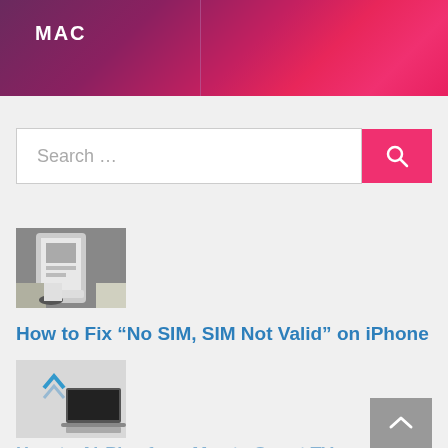MAC
[Figure (screenshot): Search bar with text 'Search ...' and a pink search button with magnifying glass icon]
[Figure (photo): Thumbnail of a hand holding an iPhone with a laptop in the background]
How to Fix “No SIM, SIM Not Valid” on iPhone
[Figure (photo): Thumbnail of a MacBook laptop with a circular cloud/AirPlay icon]
How to AirPlay from Mac to Smart TV